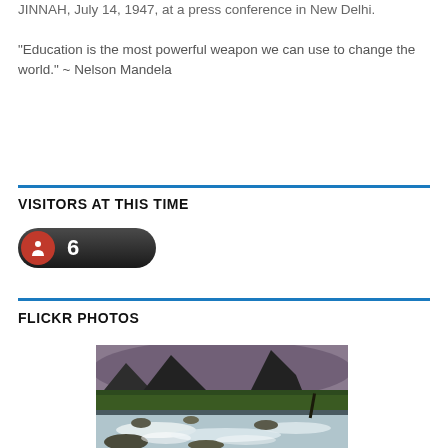JINNAH, July 14, 1947, at a press conference in New Delhi.
"Education is the most powerful weapon we can use to change the world." ~ Nelson Mandela
VISITORS AT THIS TIME
[Figure (infographic): Visitor counter badge showing a person icon and the number 6 on a dark rounded rectangle]
FLICKR PHOTOS
[Figure (photo): Landscape photo of a fast-flowing river with white rushing water in foreground, green forested mountains and dramatic cloudy sky in background]